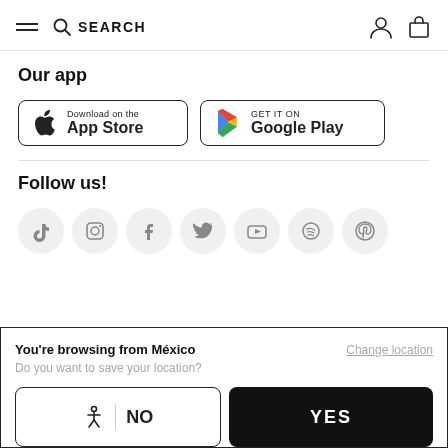SEARCH
Our app
[Figure (screenshot): Download on the App Store button]
[Figure (screenshot): GET IT ON Google Play button]
Follow us!
[Figure (infographic): Social media icons: TikTok, Instagram, Facebook, Twitter, YouTube, Spotify, Pinterest]
You're browsing from México
Do you want to save your location?
Change location
NO
YES